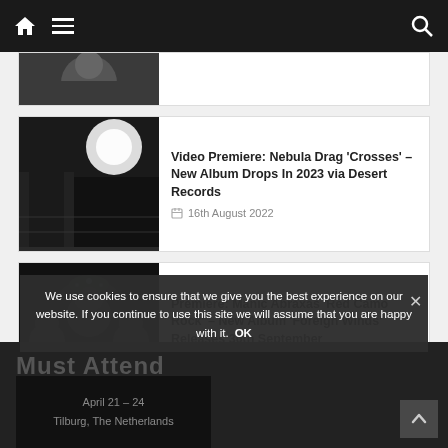Navigation bar with home, menu, and search icons
[Figure (photo): Partial article card at top — cropped black and white face photo]
[Figure (photo): Black and white band/concert photo for Nebula Drag article]
Video Premiere: Nebula Drag 'Crosses' – New Album Drops In 2023 via Desert Records
16th August 2022
[Figure (photo): Band photo of Manic Abraxas with ornate costumes]
Premiere: Manic Abraxas 'Red Camo Rock' – New Album 'Foreign Winds' Releases 30th September
11th August 2022
We use cookies to ensure that we give you the best experience on our website. If you continue to use this site we will assume that you are happy with it.
Must Attend — April 21 – 24 OK Tilburg, The Netherlands